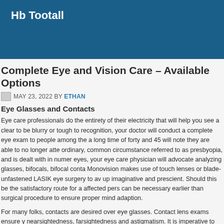Hb Tootall
Complete Eye and Vision Care – Available Options
MAY 23, 2022 BY ETHAN
Eye Glasses and Contacts
Eye care professionals do the entirety of their electricity that will help you see a clear... to be blurry or tough to recognition, your doctor will conduct a complete eye exam to... people among the a long time of forty and 45 will note they are able to no longer atte... ordinary, common circumstance referred to as presbyopia, and is dealt with in numer... eyes, your eye care physician will advocate analyzing glasses, bifocals, bifocal conta... Monovision makes use of touch lenses or blade-unfastened LASIK eye surgery to av... up imaginative and prescient. Should this be the satisfactory route for a affected pers... can be necessary earlier than surgical procedure to ensure proper mind adaption.
For many folks, contacts are desired over eye glasses. Contact lens exams ensure y... nearsightedness, farsightedness and astigmatism. It is imperative to your touch lense... are unique. Poorly equipped contacts can motive troubles which includes pain, infe...